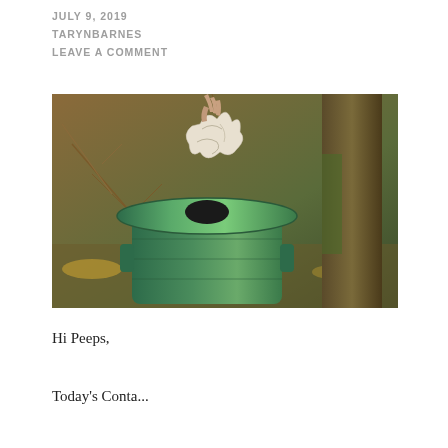JULY 9, 2019
TARYNBARNES
LEAVE A COMMENT
[Figure (photo): A hand dropping a crumpled piece of paper or tissue into a green outdoor trash can with a lid, set against a background of bare tree branches and a large tree trunk.]
Hi Peeps,
Today's Conta...